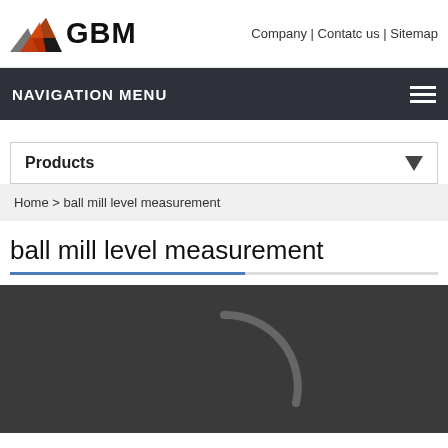GBM | Company | Contatc us | Sitemap
NAVIGATION MENU
Products
Home > ball mill level measurement
ball mill level measurement
[Figure (photo): Dark background image with a partial circular arc visible, related to ball mill level measurement equipment]